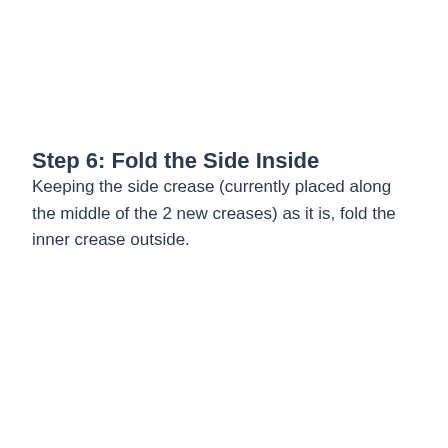Step 6: Fold the Side Inside
Keeping the side crease (currently placed along the middle of the 2 new creases) as it is, fold the inner crease outside.